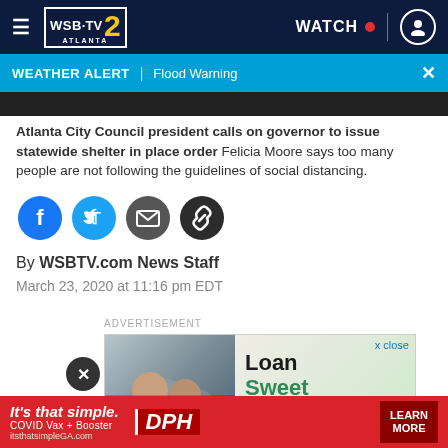[Figure (logo): WSB-TV 2 Atlanta logo and navigation bar with hamburger menu, WATCH live button, and user icon]
WEATHER ALERT | Flood Warning
Atlanta City Council president calls on governor to issue statewide shelter in place order Felicia Moore says too many people are not following the guidelines of social distancing.
[Figure (other): Social sharing icons: Facebook, Twitter, Email, Link]
By WSBTV.com News Staff
March 23, 2020 at 11:16 pm EDT
ADVERTISEMENT
[Figure (other): Advertisement: Loan Sweet Loan with photo of smiling people]
[Figure (other): Bottom banner ad: It's that simple. COVID Vax + Booster, DPH logo, LEARN MORE button]